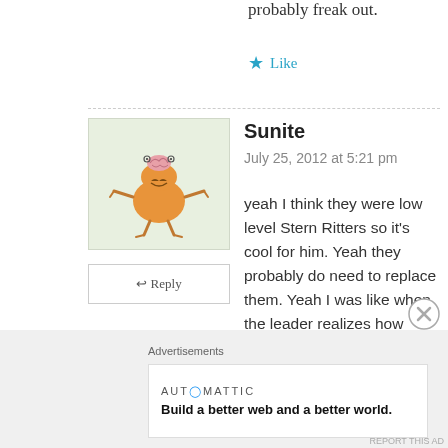probably freak out.
★ Like
[Figure (illustration): Cartoon avatar of a funky orange creature with a brain on top, arms and legs, on a green-tinted square background]
↩ Reply
Sunite
July 25, 2012 at 5:21 pm
yeah I think they were low level Stern Ritters so it's cool for him. Yeah they probably do need to replace them. Yeah I was like when the leader realizes how powerful Zaraki is, he'll blow him away! Even knowing that he hasn't got a Bankai or Shikai will terrify him lol. The blond dude will possibly want to fight Zaraki but the leader
Advertisements
AUTOMATTIC
Build a better web and a better world.